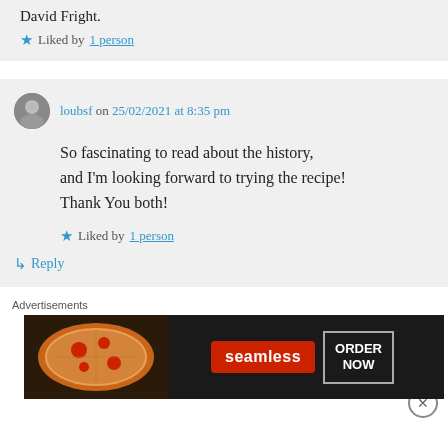David Fright.
★ Liked by 1 person
loubsf on 25/02/2021 at 8:35 pm
So fascinating to read about the history, and I'm looking forward to trying the recipe! Thank You both!
★ Liked by 1 person
↳ Reply
Advertisements
[Figure (photo): Seamless food delivery advertisement banner with pizza image, Seamless logo, and ORDER NOW button]